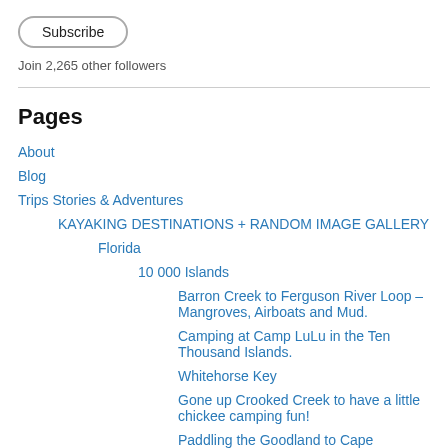[Figure (other): Subscribe button with rounded rectangle border]
Join 2,265 other followers
About
Blog
Trips Stories & Adventures
KAYAKING DESTINATIONS + RANDOM IMAGE GALLERY
Florida
10 000 Islands
Barron Creek to Ferguson River Loop – Mangroves, Airboats and Mud.
Camping at Camp LuLu in the Ten Thousand Islands.
Whitehorse Key
Gone up Crooked Creek to have a little chickee camping fun!
Paddling the Goodland to Cape Romano loop and ...